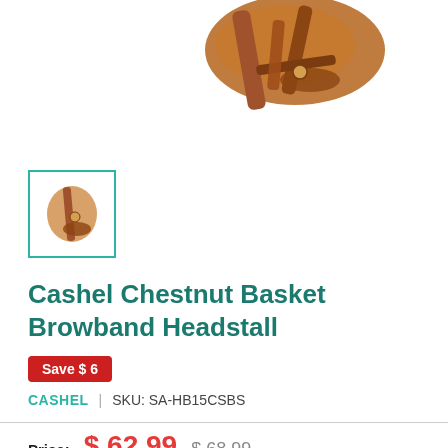[Figure (photo): Product photo of Cashel Chestnut Basket Browband Headstall leather horse tack, shown from above center]
[Figure (photo): Small thumbnail image of the Cashel Chestnut Basket Browband Headstall in a teal-bordered box]
Cashel Chestnut Basket Browband Headstall
Save $ 6
CASHEL  |  SKU: SA-HB15CSBS
Price:  $ 62.99  $ 68.99